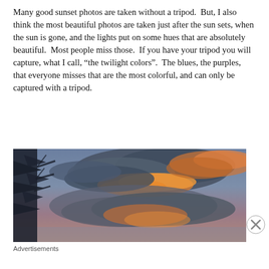Many good sunset photos are taken without a tripod.  But, I also think the most beautiful photos are taken just after the sun sets, when the sun is gone, and the lights put on some hues that are absolutely beautiful.  Most people miss those.  If you have your tripod you will capture, what I call, “the twilight colors”.  The blues, the purples, that everyone misses that are the most colorful, and can only be captured with a tripod.
[Figure (photo): A dramatic twilight/sunset sky photograph showing dark storm clouds with glowing orange and gold light breaking through, with a dark tree silhouette on the left side. The sky transitions from blue-grey to purplish tones with brilliant warm-colored clouds.]
Advertisements